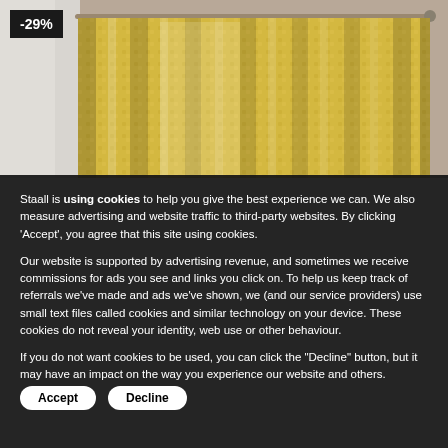[Figure (photo): Photo of yellow/gold patterned curtains hanging on a curtain rod near a window, with a dark room visible in the background.]
-29%
Staall is using cookies to help you give the best experience we can. We also measure advertising and website traffic to third-party websites. By clicking 'Accept', you agree that this site using cookies.
Our website is supported by advertising revenue, and sometimes we receive commissions for ads you see and links you click on. To help us keep track of referrals we've made and ads we've shown, we (and our service providers) use small text files called cookies and similar technology on your device. These cookies do not reveal your identity, web use or other behaviour.
If you do not want cookies to be used, you can click the "Decline" button, but it may have an impact on the way you experience our website and others.
Accept
Decline